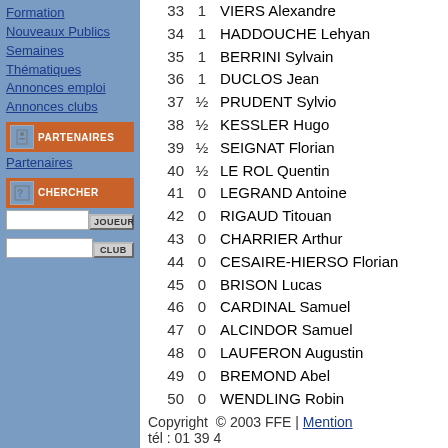Formation
Nouveaux Publics
Semaines Thématiques
Annonces emploi
Annonces clubs
PARTENAIRES
Partenaires
CHERCHER
| # | Score | Name |
| --- | --- | --- |
| 33 | 1 | VIERS Alexandre |
| 34 | 1 | HADDOUCHE Lehyan |
| 35 | 1 | BERRINI Sylvain |
| 36 | 1 | DUCLOS Jean |
| 37 | ½ | PRUDENT Sylvio |
| 38 | ½ | KESSLER Hugo |
| 39 | ½ | SEIGNAT Florian |
| 40 | ½ | LE ROL Quentin |
| 41 | 0 | LEGRAND Antoine |
| 42 | 0 | RIGAUD Titouan |
| 43 | 0 | CHARRIER Arthur |
| 44 | 0 | CESAIRE-HIERSO Florian |
| 45 | 0 | BRISON Lucas |
| 46 | 0 | CARDINAL Samuel |
| 47 | 0 | ALCINDOR Samuel |
| 48 | 0 | LAUFERON Augustin |
| 49 | 0 | BREMOND Abel |
| 50 | 0 | WENDLING Robin |
Copyright © 2003 FFE | Mention tél : 01 39 4